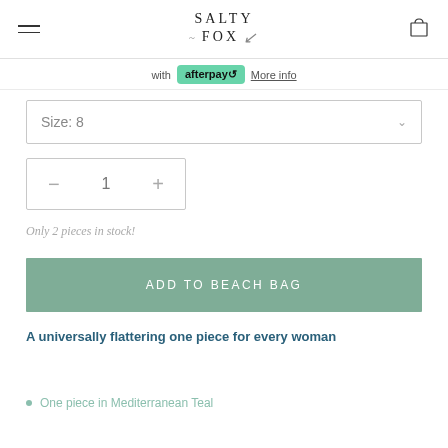SALTY FOX
with afterpay More info
Size: 8
− 1 +
Only 2 pieces in stock!
ADD TO BEACH BAG
A universally flattering one piece for every woman
One piece in Mediterranean Teal